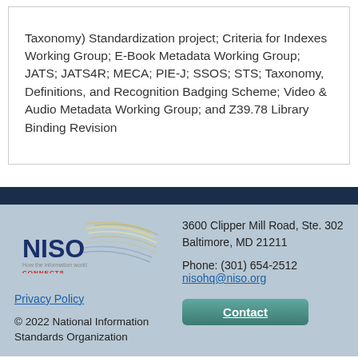Taxonomy) Standardization project; Criteria for Indexes Working Group; E-Book Metadata Working Group; JATS; JATS4R; MECA; PIE-J; SSOS; STS; Taxonomy, Definitions, and Recognition Badging Scheme; Video & Audio Metadata Working Group; and Z39.78 Library Binding Revision
[Figure (logo): NISO logo with swoosh lines and tagline 'How the information world CONNECTS']
Privacy Policy
© 2022 National Information Standards Organization
3600 Clipper Mill Road, Ste. 302
Baltimore, MD 21211
Phone: (301) 654-2512
nisohq@niso.org
Contact